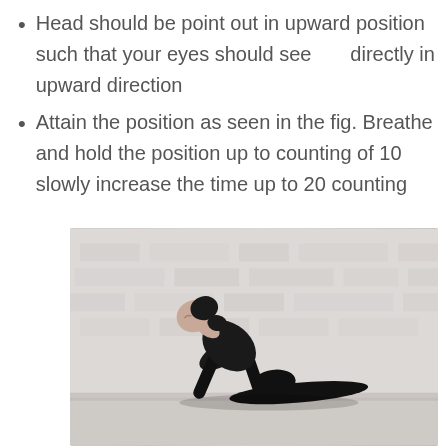Head should be point out in upward position such that your eyes should see directly in upward direction
Attain the position as seen in the fig. Breathe and hold the position up to counting of 10 slowly increase the time up to 20 counting
[Figure (photo): A woman in black athletic wear performing an upward dog or cobra yoga pose against a white brick wall background. She is arching her back with her head tilted upward.]